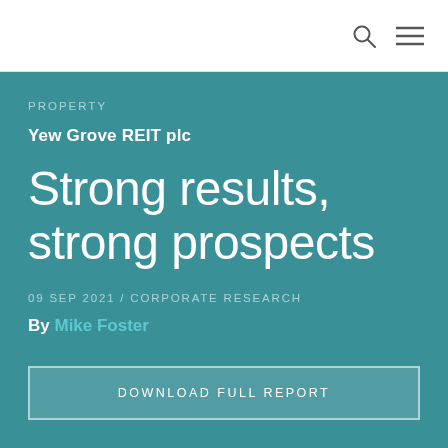PROPERTY
Yew Grove REIT plc
Strong results, strong prospects
09 SEP 2021 / CORPORATE RESEARCH
By Mike Foster
DOWNLOAD FULL REPORT